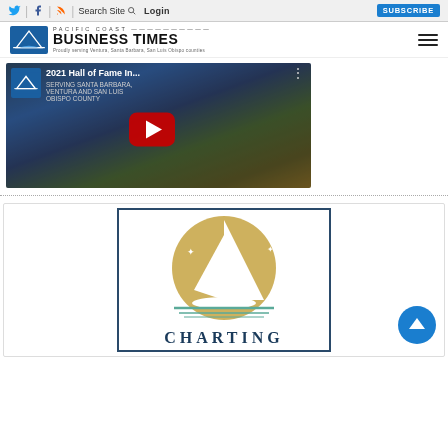Social icons (Twitter, Facebook, RSS) | Search Site | Login | SUBSCRIBE
[Figure (logo): Pacific Coast Business Times logo with navigation hamburger menu]
[Figure (screenshot): YouTube video thumbnail: 2021 Hall of Fame In... with red play button, showing crowd in blue and gold]
[Figure (illustration): Advertisement with sailboat logo and text CHARTING at bottom, in a navy bordered box]